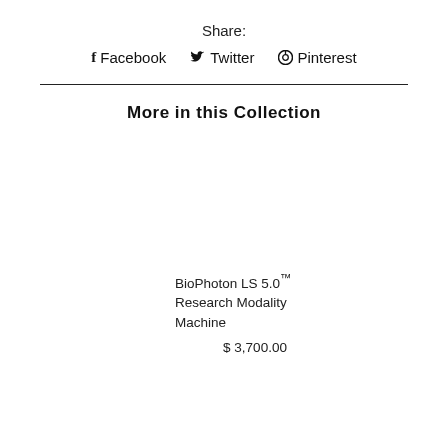Share:
f Facebook   Twitter   Pinterest
More in this Collection
BioPhoton LS 5.0™ Research Modality Machine
$ 3,700.00